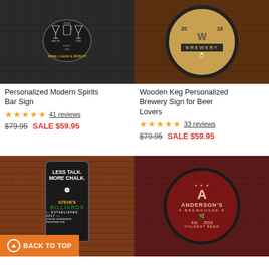[Figure (photo): Personalized Modern Spirits Bar Sign on brick wall background, dark chalkboard style with cocktail glasses and text 'DRINK, LAUGH & REPEAT!']
Personalized Modern Spirits Bar Sign
★★★★★  41 reviews
$79.95  SALE $59.95
[Figure (photo): Wooden Keg Personalized Brewery Sign for Beer Lovers on brick wall, round wooden sign with 'W', 2018, and BREWERY text]
Wooden Keg Personalized Brewery Sign for Beer Lovers
★★★★★  33 reviews
$79.95  SALE $59.95
[Figure (photo): Billiards bar sign saying LESS TALK. MORE CHALK. with Steve's Billiards Established 2017 text, on brick wall background. Orange BACK TO TOP button overlay.]
[Figure (photo): Anderson's Brewhouse circular sign with 'A' monogram, Est. 2018, COLDEST BEER text, dark red background on brick wall]